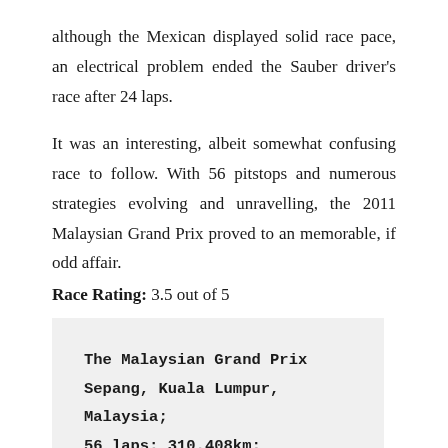although the Mexican displayed solid race pace, an electrical problem ended the Sauber driver's race after 24 laps.
It was an interesting, albeit somewhat confusing race to follow. With 56 pitstops and numerous strategies evolving and unravelling, the 2011 Malaysian Grand Prix proved to an memorable, if odd affair.
Race Rating: 3.5 out of 5
The Malaysian Grand Prix
Sepang, Kuala Lumpur, Malaysia;
56 laps; 310.408km;
Weather: Dry.